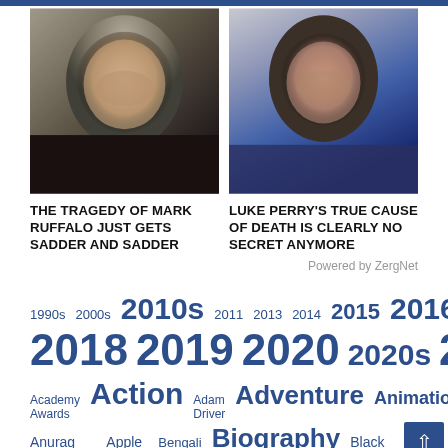[Figure (photo): Photo of Mark Ruffalo, middle-aged man with grey hair and stubble, dark shirt]
[Figure (photo): Photo of Luke Perry, middle-aged man with dark hair and beard, dark blue shirt, Entertainment Weekly backdrop]
THE TRAGEDY OF MARK RUFFALO JUST GETS SADDER AND SADDER
LUKE PERRY'S TRUE CAUSE OF DEATH IS CLEARLY NO SECRET ANYMORE
Powered by ZergNet
1990s
2000s
2010s
2011
2013
2014
2015
2016
2017
2018
2019
2020
2020s
2021
2022
Academy Awards
Action
Adam Driver
Adventure
Animation
Anurag Kashyap
Apple TV+
Bengali
Biography
Black Comedy